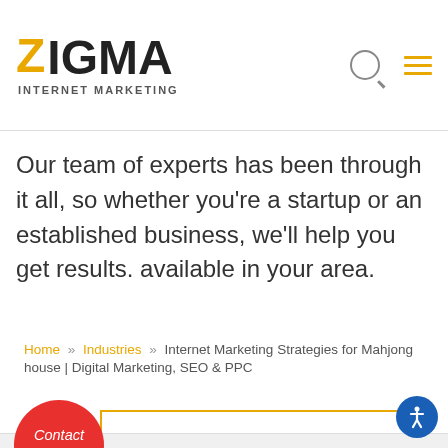[Figure (logo): Zigma Internet Marketing logo with yellow Z and black IGMA text]
Our team of experts has been through it all, so whether you're a startup or an established business, we'll help you get results. available in your area.
Home » Industries » Internet Marketing Strategies for Mahjong house | Digital Marketing, SEO & PPC
GET A QUOTE
Contact us